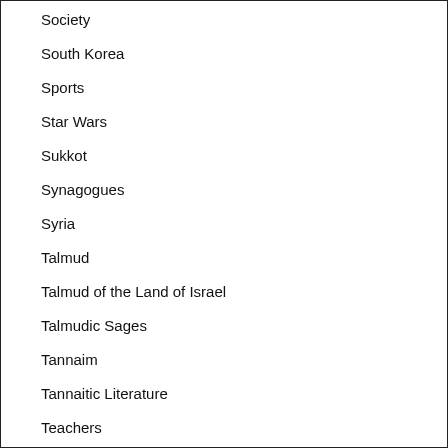Society
South Korea
Sports
Star Wars
Sukkot
Synagogues
Syria
Talmud
Talmud of the Land of Israel
Talmudic Sages
Tannaim
Tannaitic Literature
Teachers
Technology
Television